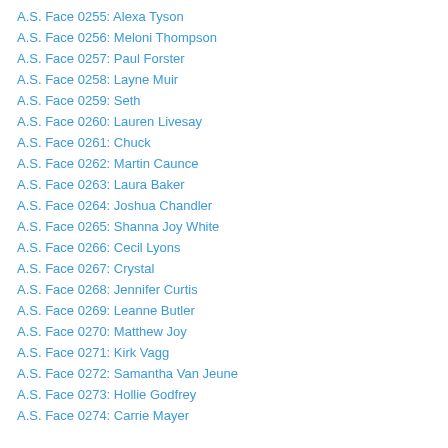A.S. Face 0255: Alexa Tyson
A.S. Face 0256: Meloni Thompson
A.S. Face 0257: Paul Forster
A.S. Face 0258: Layne Muir
A.S. Face 0259: Seth
A.S. Face 0260: Lauren Livesay
A.S. Face 0261: Chuck
A.S. Face 0262: Martin Caunce
A.S. Face 0263: Laura Baker
A.S. Face 0264: Joshua Chandler
A.S. Face 0265: Shanna Joy White
A.S. Face 0266: Cecil Lyons
A.S. Face 0267: Crystal
A.S. Face 0268: Jennifer Curtis
A.S. Face 0269: Leanne Butler
A.S. Face 0270: Matthew Joy
A.S. Face 0271: Kirk Vagg
A.S. Face 0272: Samantha Van Jeune
A.S. Face 0273: Hollie Godfrey
A.S. Face 0274: Carrie Mayer